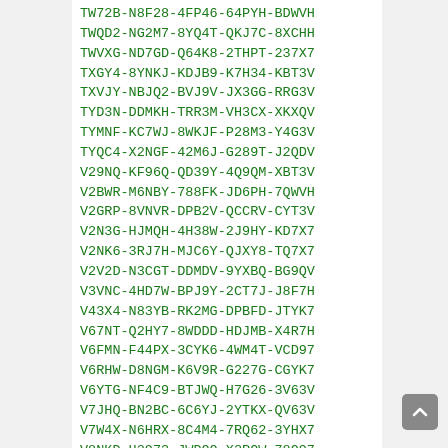TW72B-N8F28-4FP46-64PYH-BDWVH
TWQD2-NG2M7-8YQ4T-QKJ7C-8XCHH
TWVXG-ND7GD-Q64K8-2THPT-237X7
TXGY4-8YNKJ-KDJB9-K7H34-KBT3V
TXVJY-NBJQ2-BVJ9V-JX3GG-RRG3V
TYD3N-DDMKH-TRR3M-VH3CX-XKXQV
TYMNF-KC7WJ-8WKJF-P28M3-Y4G3V
TYQC4-X2NGF-42M6J-G289T-J2QDV
V29NQ-KF96Q-QD39Y-4Q9QM-XBT3V
V2BWR-M6NBY-788FK-JD6PH-7QWVH
V2GRP-8VNVR-DPB2V-QCCRV-CYT3V
V2N3G-HJMQH-4H38W-2J9HY-KD7X7
V2NK6-3RJ7H-MJC6Y-QJXY8-TQ7X7
V2V2D-N3CGT-DDMDV-9YXBQ-BG9QV
V3VNC-4HD7W-BPJ9Y-2CT7J-J8F7H
V43X4-N83YB-RK2MG-DPBFD-JTYK7
V67NT-Q2HY7-8WDDD-HDJMB-X4R7H
V6FMN-F44PX-3CYK6-4WM4T-VCD97
V6RHW-D8NGM-K6V9R-G227G-CGYK7
V6YTG-NF4C9-BTJWQ-H7G26-3V63V
V7JHQ-BN2BC-6C6YJ-2YTKX-QV63V
V7W4X-N6HRX-8C4M4-7RQ62-3YHX7
V8NKD-H2973-JWDQQ-X2RQW-78Q97